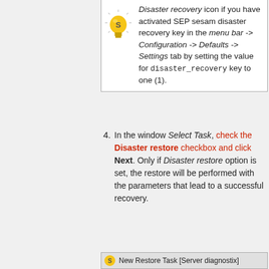Disaster recovery icon if you have activated SEP sesam disaster recovery key in the menu bar -> Configuration -> Defaults -> Settings tab by setting the value for disaster_recovery key to one (1).
4. In the window Select Task, check the Disaster restore checkbox and click Next. Only if Disaster restore option is set, the restore will be performed with the parameters that lead to a successful recovery.
[Figure (screenshot): New Restore Task [Server diagnostix] window bar]